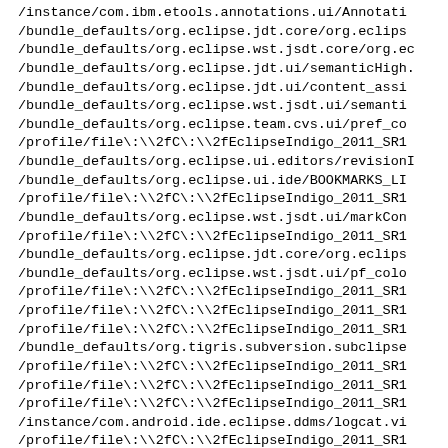/instance/com.ibm.etools.annotations.ui/Annotati
/bundle_defaults/org.eclipse.jdt.core/org.eclips
/bundle_defaults/org.eclipse.wst.jsdt.core/org.ec
/bundle_defaults/org.eclipse.jdt.ui/semanticHigh.
/bundle_defaults/org.eclipse.jdt.ui/content_assi
/bundle_defaults/org.eclipse.wst.jsdt.ui/semanti
/bundle_defaults/org.eclipse.team.cvs.ui/pref_co
/profile/file\:\\2fC\:\\2fEclipseIndigo_2011_SR1
/bundle_defaults/org.eclipse.ui.editors/revisionI
/bundle_defaults/org.eclipse.ui.ide/BOOKMARKS_LI
/profile/file\:\\2fC\:\\2fEclipseIndigo_2011_SR1
/bundle_defaults/org.eclipse.wst.jsdt.ui/markCon
/profile/file\:\\2fC\:\\2fEclipseIndigo_2011_SR1
/bundle_defaults/org.eclipse.jdt.core/org.eclips
/bundle_defaults/org.eclipse.wst.jsdt.ui/pf_colo
/profile/file\:\\2fC\:\\2fEclipseIndigo_2011_SR1
/profile/file\:\\2fC\:\\2fEclipseIndigo_2011_SR1
/profile/file\:\\2fC\:\\2fEclipseIndigo_2011_SR1
/bundle_defaults/org.tigris.subversion.subclipse
/profile/file\:\\2fC\:\\2fEclipseIndigo_2011_SR1
/profile/file\:\\2fC\:\\2fEclipseIndigo_2011_SR1
/profile/file\:\\2fC\:\\2fEclipseIndigo_2011_SR1
/instance/com.android.ide.eclipse.ddms/logcat.vi
/profile/file\:\\2fC\:\\2fEclipseIndigo_2011_SR1
/profile/file\:\\2fC\:\\2fEclipseIndigo_2011_SR1